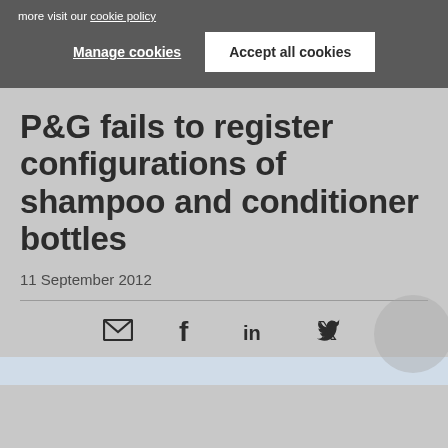more visit our cookie policy
Manage cookies
Accept all cookies
P&G fails to register configurations of shampoo and conditioner bottles
11 September 2012
[Figure (infographic): Social sharing icons: email, Facebook, LinkedIn, Twitter]